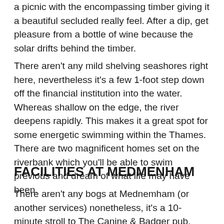a picnic with the encompassing timber giving it a beautiful secluded really feel. After a dip, get pleasure from a bottle of wine because the solar drifts behind the timber.
There aren't any mild shelving seashores right here, nevertheless it's a few 1-foot step down off the financial institution into the water. Whereas shallow on the edge, the river deepens rapidly. This makes it a great spot for some energetic swimming within the Thames. There are two magnificent homes set on the riverbank which you'll be able to swim previous and dream of what life may have been.
FACILITIES AT MEDMENHAM
There aren't any bogs at Mednemham (or another services) nonetheless, it's a 10-minute stroll to The Canine & Badger pub.